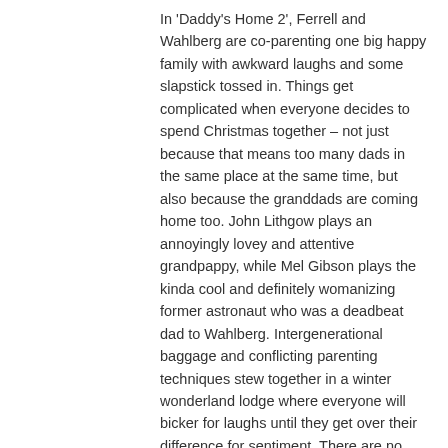In 'Daddy's Home 2', Ferrell and Wahlberg are co-parenting one big happy family with awkward laughs and some slapstick tossed in. Things get complicated when everyone decides to spend Christmas together – not just because that means too many dads in the same place at the same time, but also because the granddads are coming home too. John Lithgow plays an annoyingly lovey and attentive grandpappy, while Mel Gibson plays the kinda cool and definitely womanizing former astronaut who was a deadbeat dad to Wahlberg. Intergenerational baggage and conflicting parenting techniques stew together in a winter wonderland lodge where everyone will bicker for laughs until they get over their difference for sentiment. There are no surprises within the formula. It's exactly what you'd expect from the first frame to the last.